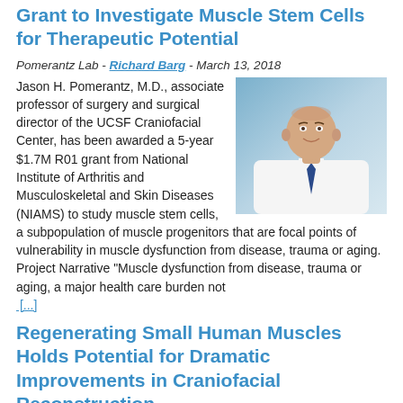Grant to Investigate Muscle Stem Cells for Therapeutic Potential
Pomerantz Lab - Richard Barg - March 13, 2018
[Figure (photo): Headshot of Jason H. Pomerantz, M.D., wearing a white coat and blue tie, smiling, in a professional portrait photo.]
Jason H. Pomerantz, M.D., associate professor of surgery and surgical director of the UCSF Craniofacial Center, has been awarded a 5-year $1.7M R01 grant from National Institute of Arthritis and Musculoskeletal and Skin Diseases (NIAMS) to study muscle stem cells, a subpopulation of muscle progenitors that are focal points of vulnerability in muscle dysfunction from disease, trauma or aging. Project Narrative "Muscle dysfunction from disease, trauma or aging, a major health care burden not
[...]
Regenerating Small Human Muscles Holds Potential for Dramatic Improvements in Craniofacial Reconstruction